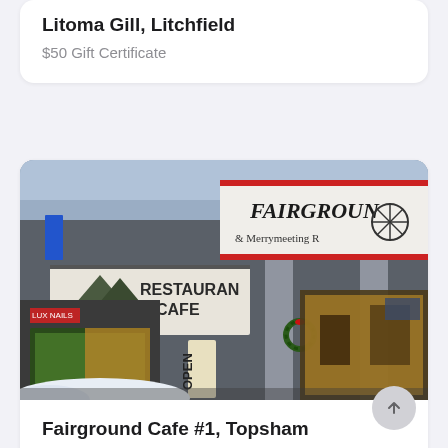Litoma Gill, Litchfield
$50 Gift Certificate
[Figure (photo): Exterior photo of Fairground Cafe restaurant at dusk, showing signs reading FAIRGROUND & Merrymeeting Rd, RESTAURANT & CAFE, an OPEN banner, a Christmas wreath, and snow on the ground.]
Fairground Cafe #1, Topsham
$25 Gift Certificate